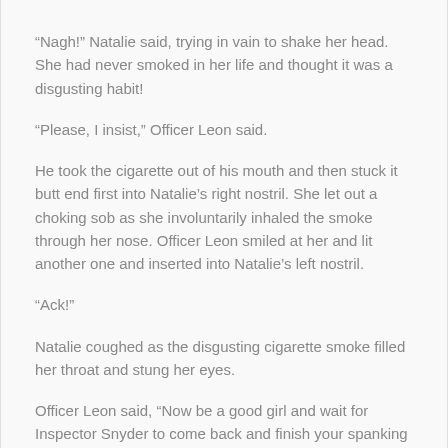“Nagh!” Natalie said, trying in vain to shake her head. She had never smoked in her life and thought it was a disgusting habit!
“Please, I insist,” Officer Leon said.
He took the cigarette out of his mouth and then stuck it butt end first into Natalie’s right nostril. She let out a choking sob as she involuntarily inhaled the smoke through her nose. Officer Leon smiled at her and lit another one and inserted into Natalie’s left nostril.
“Ack!”
Natalie coughed as the disgusting cigarette smoke filled her throat and stung her eyes.
Officer Leon said, “Now be a good girl and wait for Inspector Snyder to come back and finish your spanking punishment.”